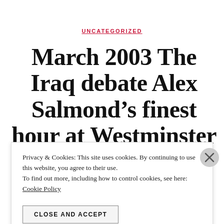UNCATEGORIZED
March 2003 The Iraq debate Alex Salmond’s finest hour at Westminster exposed the sanctimonious
Privacy & Cookies: This site uses cookies. By continuing to use this website, you agree to their use.
To find out more, including how to control cookies, see here:
Cookie Policy
CLOSE AND ACCEPT